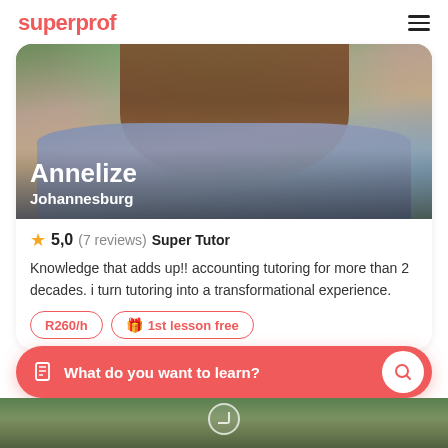superprof
[Figure (photo): Profile photo of tutor Annelize from Johannesburg, wearing a denim jacket and white turtleneck sweater, with brown hair]
Annelize
Johannesburg
5,0 (7 reviews) Super Tutor
Knowledge that adds up!! accounting tutoring for more than 2 decades. i turn tutoring into a transformational experience.
R260/h
1st lesson free
What do you want to learn?